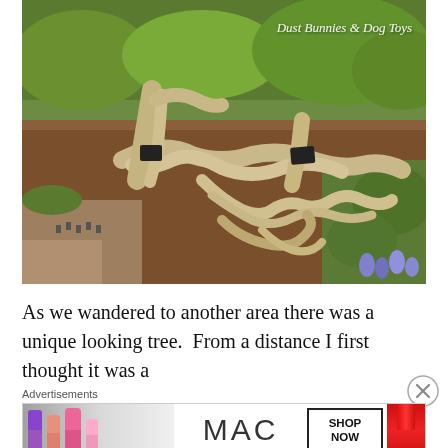[Figure (photo): Photo of a unique driftwood/gnarled tree root structure laid out on a garden bed with reddish-brown mulch, surrounded by green bushes and some purple flowers in the lower right. Small dark plant identification signs are visible near the roots. A watermark in the upper right reads 'Dust Bunnies & Dog Toys' in white italic script.]
As we wandered to another area there was a unique looking tree.  From a distance I first thought it was a
[Figure (other): MAC Cosmetics advertisement showing colorful lipsticks on the left, the MAC logo in the center, a 'SHOP NOW' box, and a red lipstick on the right. Labeled 'Advertisements' above.]